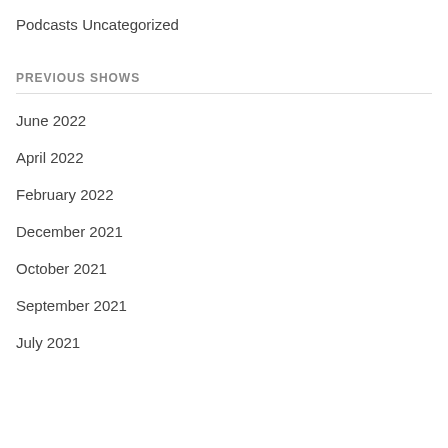Podcasts
Uncategorized
PREVIOUS SHOWS
June 2022
April 2022
February 2022
December 2021
October 2021
September 2021
July 2021